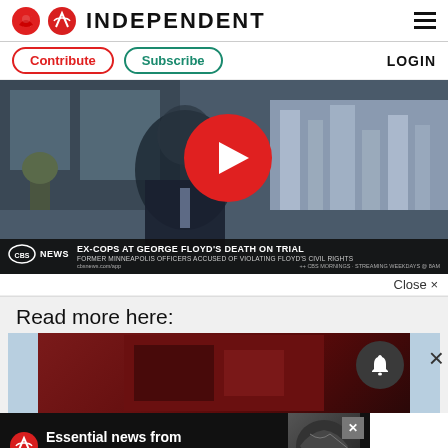INDEPENDENT
Contribute  Subscribe  LOGIN
[Figure (screenshot): CBS News video player showing a man in a suit with a play button overlay. Lower banner reads: CBS NEWS | EX-COPS AT GEORGE FLOYD'S DEATH ON TRIAL | FORMER MINNEAPOLIS OFFICERS ACCUSED OF VIOLATING FLOYD'S CIVIL RIGHTS]
Close ×
Read more here:
[Figure (screenshot): Thumbnail preview of a related article with blue side panels and a notification bell icon]
[Figure (screenshot): Advertisement banner: Independent logo with text 'Essential news from around the world' and globe graphic]